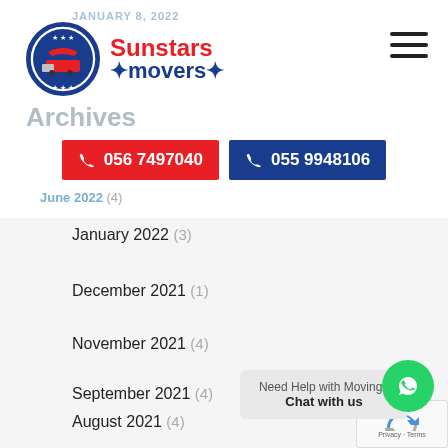JANUARY 8, 2022
[Figure (logo): Sunstars Movers logo with circular emblem and red/blue brand text]
Archives
056 7497040   055 9948106
June 2022 (4)
January 2022 (3)
December 2021 (1)
November 2021 (4)
September 2021 (4)
August 2021 (4)
March 2021 (2)
Need Help with Moving? Chat with us